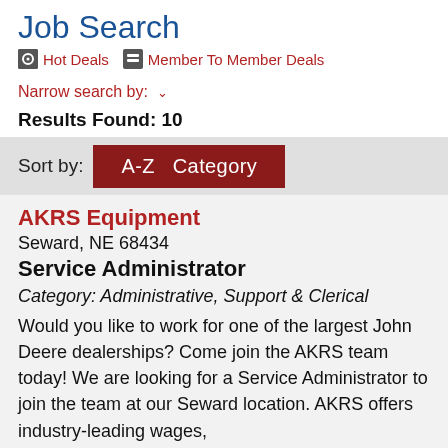Job Search
Hot Deals  Member To Member Deals
Narrow search by: ∨
Results Found: 10
Sort by:  A-Z  Category
AKRS Equipment
Seward, NE 68434
Service Administrator
Category: Administrative, Support & Clerical
Would you like to work for one of the largest John Deere dealerships? Come join the AKRS team today! We are looking for a Service Administrator to join the team at our Seward location. AKRS offers industry-leading wages,